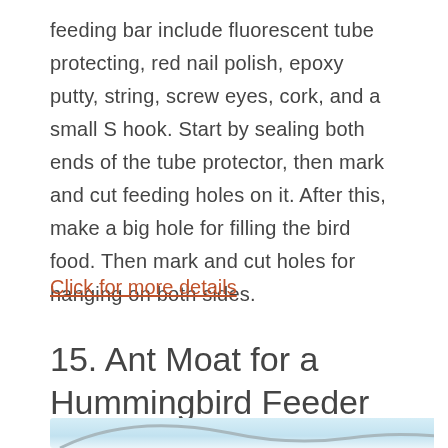feeding bar include fluorescent tube protecting, red nail polish, epoxy putty, string, screw eyes, cork, and a small S hook. Start by sealing both ends of the tube protector, then mark and cut feeding holes on it. After this, make a big hole for filling the bird food. Then mark and cut holes for hanging on both sides.
Click for more details
15. Ant Moat for a Hummingbird Feeder
[Figure (photo): Partial image at bottom of page, showing a light blue and white background with a curved grey shape, likely the top of a hummingbird feeder or related craft object.]